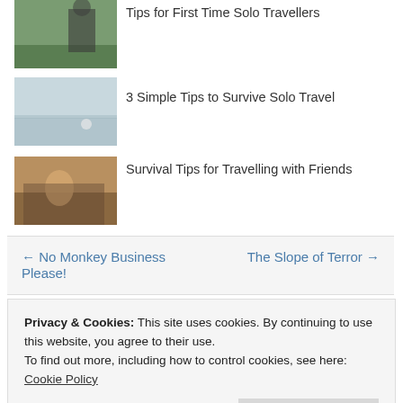[Figure (photo): Thumbnail image of a person on a green field – Tips for First Time Solo Travellers]
Tips for First Time Solo Travellers
[Figure (photo): Thumbnail image showing a misty water scene – 3 Simple Tips to Survive Solo Travel]
3 Simple Tips to Survive Solo Travel
[Figure (photo): Thumbnail image of a person in a vehicle – Survival Tips for Travelling with Friends]
Survival Tips for Travelling with Friends
← No Monkey Business Please!
The Slope of Terror →
Privacy & Cookies: This site uses cookies. By continuing to use this website, you agree to their use.
To find out more, including how to control cookies, see here:
Cookie Policy
Close and accept